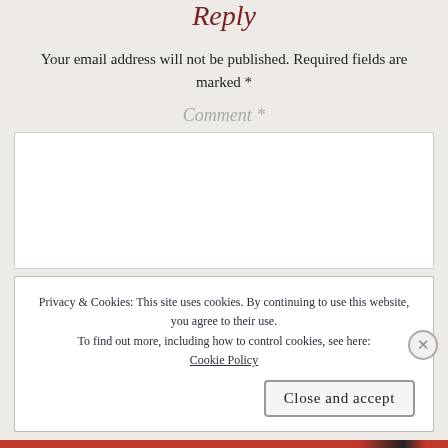Reply
Your email address will not be published. Required fields are marked *
Comment *
[Figure (screenshot): Empty comment text area input box]
Privacy & Cookies: This site uses cookies. By continuing to use this website, you agree to their use. To find out more, including how to control cookies, see here: Cookie Policy
Close and accept